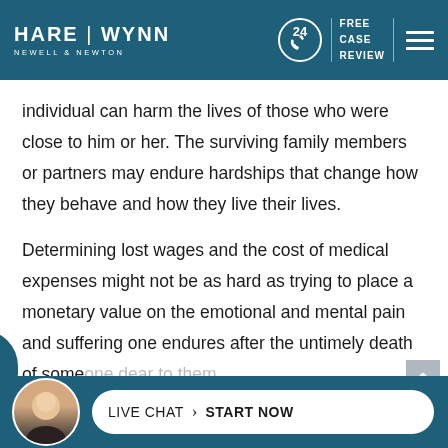HARE | WYNN NEWELL & NEWTON — FREE CASE REVIEW
individual can harm the lives of those who were close to him or her. The surviving family members or partners may endure hardships that change how they behave and how they live their lives.
Determining lost wages and the cost of medical expenses might not be as hard as trying to place a monetary value on the emotional and mental pain and suffering one endures after the untimely death of some one dear to them.
LIVE CHAT > START NOW